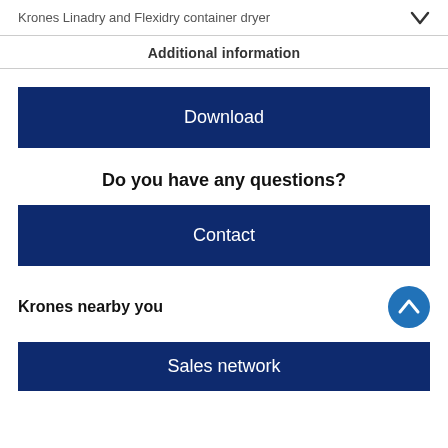Krones Linadry and Flexidry container dryer
Additional information
Download
Do you have any questions?
Contact
Krones nearby you
Sales network